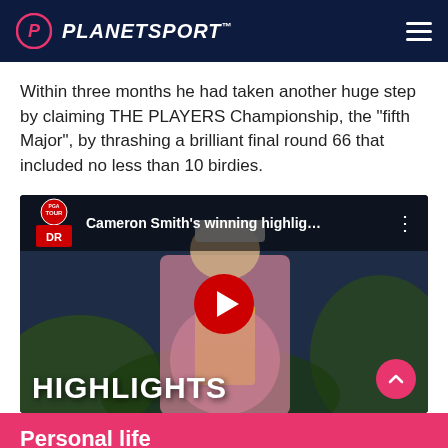PLANETSPORT
Within three months he had taken another huge step by claiming THE PLAYERS Championship, the “fifth Major”, by thrashing a brilliant final round 66 that included no less than 10 birdies.
[Figure (screenshot): YouTube video thumbnail showing Cameron Smith holding the PLAYERS Championship trophy, with a red YouTube play button in the center and 'HIGHLIGHTS' text at the bottom. PGA Tour logo badge in top-left corner with video title 'Cameron Smith’s winning highlig...']
Personal life